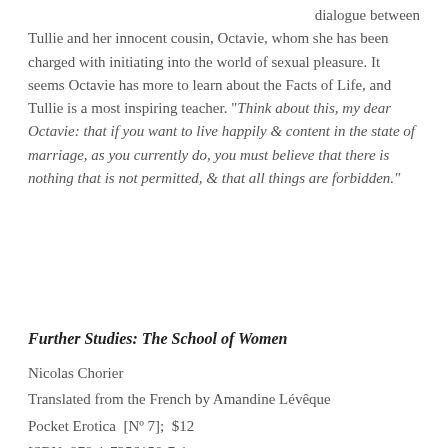dialogue between Tullie and her innocent cousin, Octavie, whom she has been charged with initiating into the world of sexual pleasure. It seems Octavie has more to learn about the Facts of Life, and Tullie is a most inspiring teacher. “Think about this, my dear Octavie: that if you want to live happily & content in the state of marriage, as you currently do, you must believe that there is nothing that is not permitted, & that all things are forbidden.”
Further Studies: The School of Women
Nicolas Chorier
Translated from the French by Amandine Lévêque
Pocket Erotica  [Nº 7];  $12
ISBN: 978-1-7356158-7-1